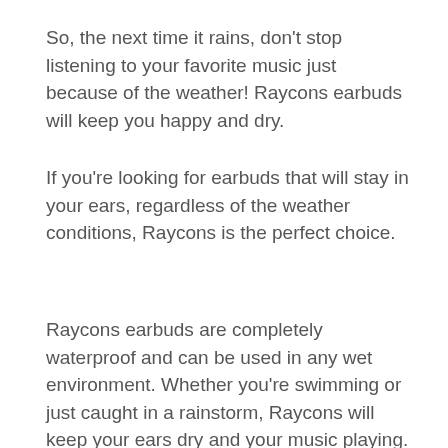So, the next time it rains, don't stop listening to your favorite music just because of the weather! Raycons earbuds will keep you happy and dry.
If you're looking for earbuds that will stay in your ears, regardless of the weather conditions, Raycons is the perfect choice.
Raycons earbuds are completely waterproof and can be used in any wet environment. Whether you're swimming or just caught in a rainstorm, Raycons will keep your ears dry and your music playing.
With high-quality sound and extreme durability, Raycons is the perfect way to keep your listening experience going no matter what the weather has in